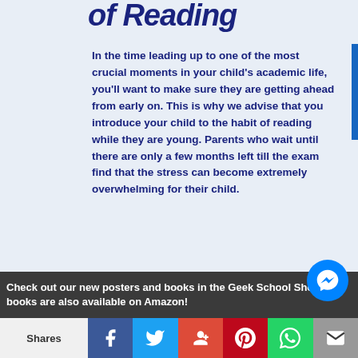of Reading
In the time leading up to one of the most crucial moments in your child's academic life, you'll want to make sure they are getting ahead from early on. This is why we advise that you introduce your child to the habit of reading while they are young. Parents who wait until there are only a few months left till the exam find that the stress can become extremely overwhelming for their child.
Check out our new posters and books in the Geek School Shop! Our books are also available on Amazon!
Shares | Facebook | Twitter | Google+ | Pinterest | WhatsApp | Email